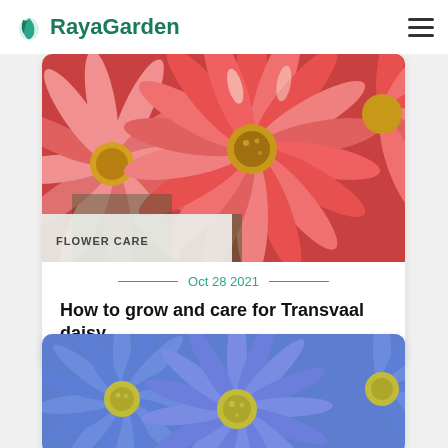RayaGarden
[Figure (photo): Close-up of pink/red Transvaal daisy (Gerbera) flowers with overlapping petals, with a 'FLOWER CARE' label overlay at the bottom-left]
Oct 28 2021
How to grow and care for Transvaal daisy
[Figure (photo): Close-up of blue daisy flowers with yellow centers (Felicia amelloides), multiple blooms filling the frame]